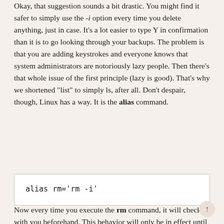Okay, that suggestion sounds a bit drastic. You might find it safer to simply use the -i option every time you delete anything, just in case. It's a lot easier to type Y in confirmation than it is to go looking through your backups. The problem is that you are adding keystrokes and everyone knows that system administrators are notoriously lazy people. Then there's that whole issue of the first principle (lazy is good). That's why we shortened "list" to simply ls, after all. Don't despair, though, Linux has a way. It is the alias command.
[Figure (other): Code block showing: alias rm='rm -i']
Now every time you execute the rm command, it will check with you beforehand. This behavior will only be in effect until you log out. If you want this to be the default behavior for rm, you should add the alias command to your local